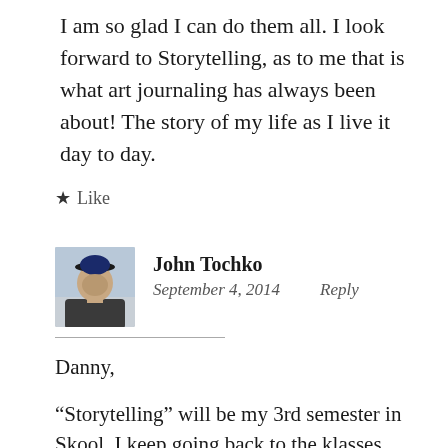I am so glad I can do them all. I look forward to Storytelling, as to me that is what art journaling has always been about! The story of my life as I live it day to day.
★ Like
[Figure (photo): Avatar photo of John Tochko, a man wearing a cap, shown from the shoulders up, in an outdoor setting]
John Tochko
September 4, 2014   Reply
Danny,
“Storytelling” will be my 3rd semester in Skool. I keep going back to the klasses taught by individual instructors in the first two semesters.